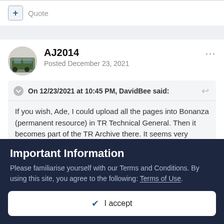Quote
AJ2014
Posted December 23, 2021
On 12/23/2021 at 10:45 PM, DavidBee said:
If you wish, Ade, I could upload all the pages into Bonanza (permanent resource) in TR Technical General. Then it becomes part of the TR Archive there. It seems very useful
Important Information
Please familiarise yourself with our Terms and Conditions. By using this site, you agree to the following: Terms of Use.
I accept